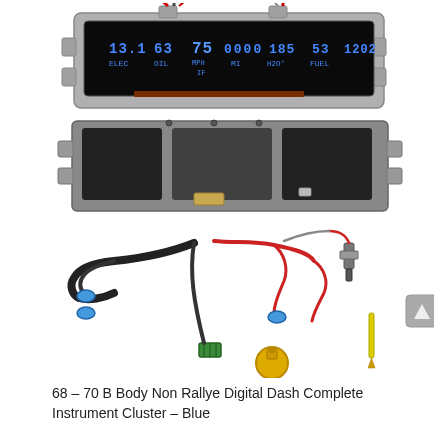[Figure (photo): Product photo showing a 68-70 B Body Non Rallye Digital Dash Complete Instrument Cluster in Blue. The image shows: (top) a horizontal black instrument cluster panel with chrome trim displaying blue LED digital readouts showing values like 13.1 ELEC, 63 OIL, 75 MPH with IF below, 0000 MI, 185 H2O°, 53 FUEL, and 1202; (middle) the back/circuit side of the instrument cluster panel; (bottom) wiring harness components including black and colored wires with blue connectors, a yellow sender unit/sensor, a spark plug style sender, and a yellow pencil-like probe.]
68 – 70 B Body Non Rallye Digital Dash Complete Instrument Cluster – Blue